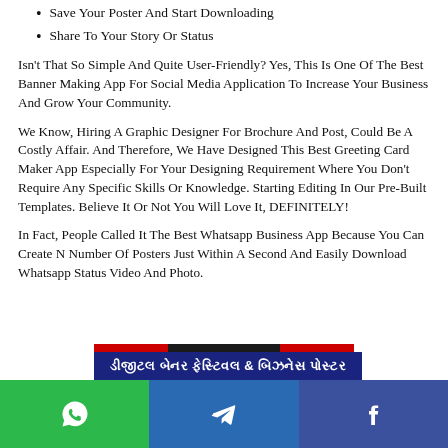Save Your Poster And Start Downloading
Share To Your Story Or Status
Isn't That So Simple And Quite User-Friendly? Yes, This Is One Of The Best Banner Making App For Social Media Application To Increase Your Business And Grow Your Community.
We Know, Hiring A Graphic Designer For Brochure And Post, Could Be A Costly Affair. And Therefore, We Have Designed This Best Greeting Card Maker App Especially For Your Designing Requirement Where You Don't Require Any Specific Skills Or Knowledge. Starting Editing In Our Pre-Built Templates. Believe It Or Not You Will Love It, DEFINITELY!
In Fact, People Called It The Best Whatsapp Business App Because You Can Create N Number Of Posters Just Within A Second And Easily Download Whatsapp Status Video And Photo.
[Figure (other): Banner with Gujarati text: ડીજીટલ બેનર ફેસ્ટિવલ & બિઝનેસ પોસ્ટર, with red and dark top bar over a dark blue background]
[Figure (other): Bottom navigation bar with three social sharing buttons: WhatsApp (green), Telegram (blue), Facebook (dark blue)]